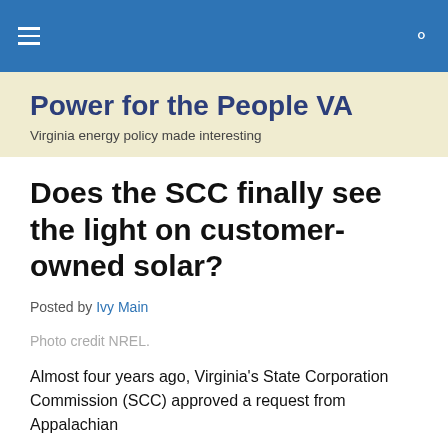Power for the People VA — navigation bar
Power for the People VA
Virginia energy policy made interesting
Does the SCC finally see the light on customer-owned solar?
Posted by Ivy Main
Photo credit NREL.
Almost four years ago, Virginia's State Corporation Commission (SCC) approved a request from Appalachian